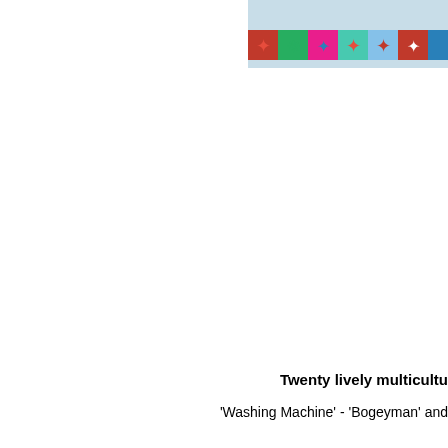[Figure (photo): Partial view of a colorful fabric or ribbon strip with star-shaped patterns on various colored square patches (red, green, pink, teal, light blue, dark blue, white), shown at the top right of the page against a light blue/white background. The image is cropped and extends beyond the right edge.]
Twenty lively multicultu
'Washing Machine' - 'Bogeyman' and